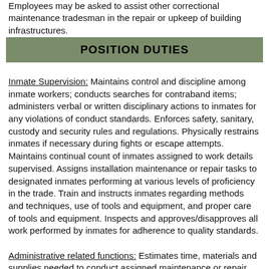Employees may be asked to assist other correctional maintenance tradesman in the repair or upkeep of building infrastructures.
POSITION DUTIES
Inmate Supervision: Maintains control and discipline among inmate workers; conducts searches for contraband items; administers verbal or written disciplinary actions to inmates for any violations of conduct standards. Enforces safety, sanitary, custody and security rules and regulations. Physically restrains inmates if necessary during fights or escape attempts. Maintains continual count of inmates assigned to work details supervised. Assigns installation maintenance or repair tasks to designated inmates performing at various levels of proficiency in the trade. Train and instructs inmates regarding methods and techniques, use of tools and equipment, and proper care of tools and equipment. Inspects and approves/disapproves all work performed by inmates for adherence to quality standards.
Administrative related functions: Estimates time, materials and supplies needed to conduct assigned maintenance or repair tasks. Orders supplies and materials needed. Keeps records of supplies and materials used; inventories materials on hand tools in use.
Performance of Trade – related functions: Personally performs certain